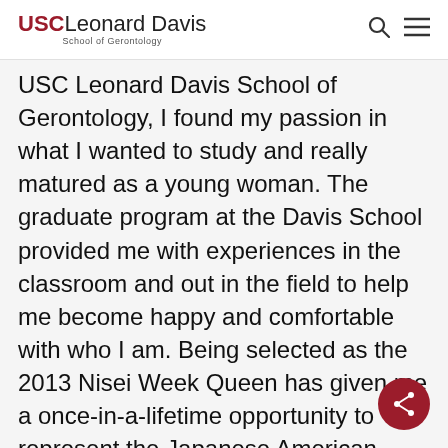USC Leonard Davis School of Gerontology
USC Leonard Davis School of Gerontology, I found my passion in what I wanted to study and really matured as a young woman. The graduate program at the Davis School provided me with experiences in the classroom and out in the field to help me become happy and comfortable with who I am. Being selected as the 2013 Nisei Week Queen has given me a once-in-a-lifetime opportunity to represent the Japanese American community